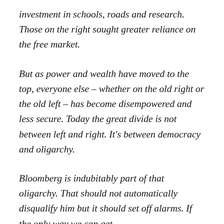investment in schools, roads and research. Those on the right sought greater reliance on the free market.
But as power and wealth have moved to the top, everyone else – whether on the old right or the old left – has become disempowered and less secure. Today the great divide is not between left and right. It's between democracy and oligarchy.
Bloomberg is indubitably part of that oligarchy. That should not automatically disqualify him but it should set off alarms. If the only way we can get